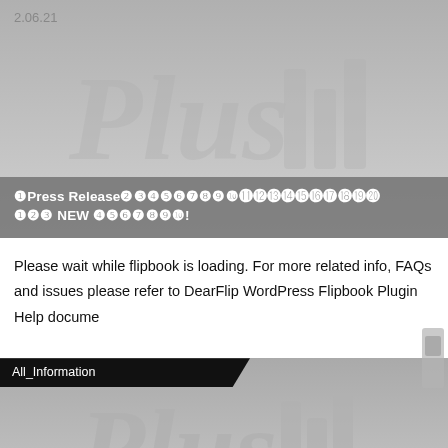[Figure (screenshot): Press release card with PlusSport logo watermark, gray gradient background, date '2.06.21' and title text in white on dark overlay banner]
Please wait while flipbook is loading. For more related info, FAQs and issues please refer to DearFlip WordPress Flipbook Plugin Help docume
All_Information
[Figure (screenshot): Second press release card with PlusSport logo watermark, gray gradient background, date '2.06.10' and title 'Press Release Stream Trail×Shipsmast ...' in white on dark overlay banner]